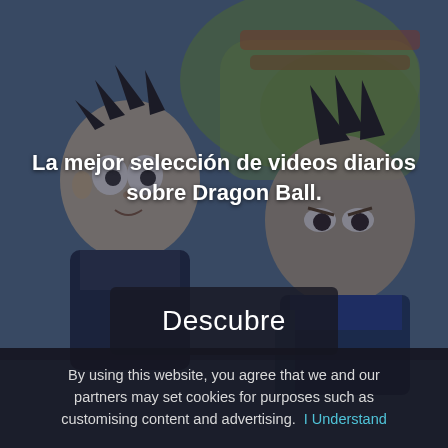[Figure (illustration): Background illustration of Dragon Ball anime characters (Goku and Vegeta) with a dark semi-transparent overlay. Green and blue tones with Dragon Ball-style art.]
La mejor selección de videos diarios sobre Dragon Ball.
Descubre
By using this website, you agree that we and our partners may set cookies for purposes such as customising content and advertising.  I Understand